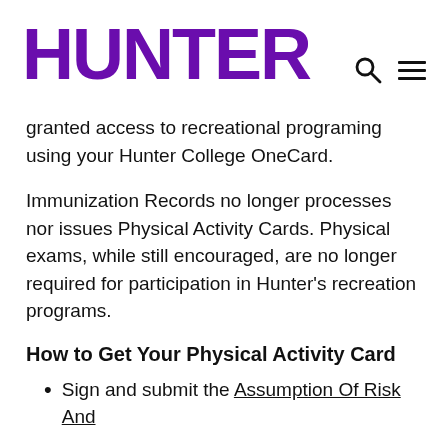HUNTER
granted access to recreational programing using your Hunter College OneCard.
Immunization Records no longer processes nor issues Physical Activity Cards. Physical exams, while still encouraged, are no longer required for participation in Hunter's recreation programs.
How to Get Your Physical Activity Card
Sign and submit the Assumption Of Risk And